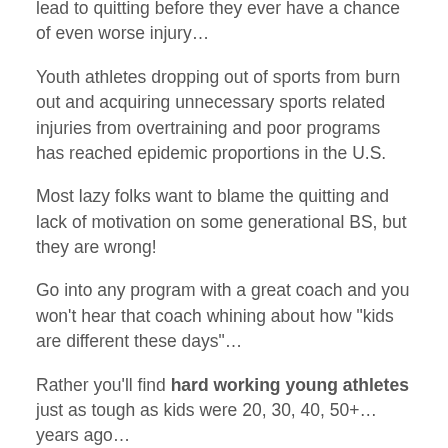lead to quitting before they ever have a chance of even worse injury…
Youth athletes dropping out of sports from burn out and acquiring unnecessary sports related injuries from overtraining and poor programs has reached epidemic proportions in the U.S.
Most lazy folks want to blame the quitting and lack of motivation on some generational BS, but they are wrong!
Go into any program with a great coach and you won't hear that coach whining about how "kids are different these days"…
Rather you'll find hard working young athletes just as tough as kids were 20, 30, 40, 50+… years ago…
These coaches understand how to properly balance the development of an overall athlete, competition and sport specific training…
They also understand the pitfalls from over-emphasizing competitions too soon and focusing on too much sport